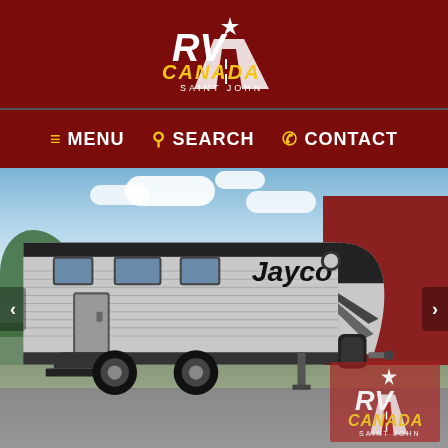[Figure (logo): RV Canada Saint John logo — white RV text and road illustration above yellow CANADA text on dark red background]
≡ MENU  🔍 SEARCH  📞 CONTACT
[Figure (photo): Jayco travel trailer RV parked in a lot in front of a red commercial building, with cloudy sky and trees in background. RV Canada Saint John watermark logo in bottom right corner.]